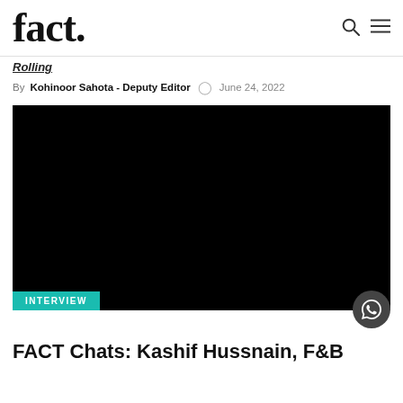fact.
Rolling
By Kohinoor Sahota - Deputy Editor  June 24, 2022
[Figure (photo): Black image with INTERVIEW badge overlay at bottom left]
FACT Chats: Kashif Hussnain, F&B